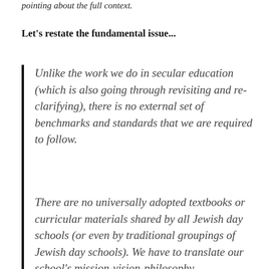pointing about the full context.
Let's restate the fundamental issue...
Unlike the work we do in secular education (which is also going through revisiting and re-clarifying), there is no external set of benchmarks and standards that we are required to follow.
There are no universally adopted textbooks or curricular materials shared by all Jewish day schools (or even by traditional groupings of Jewish day schools).  We have to translate our school's mission-vision-philosophy